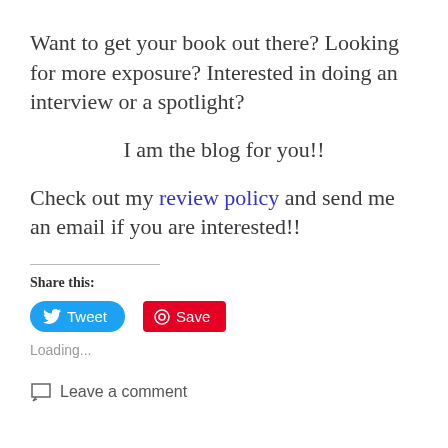Want to get your book out there? Looking for more exposure? Interested in doing an interview or a spotlight?
I am the blog for you!!
Check out my review policy and send me an email if you are interested!!
Share this:
[Figure (other): Tweet and Save share buttons]
Loading...
Leave a comment